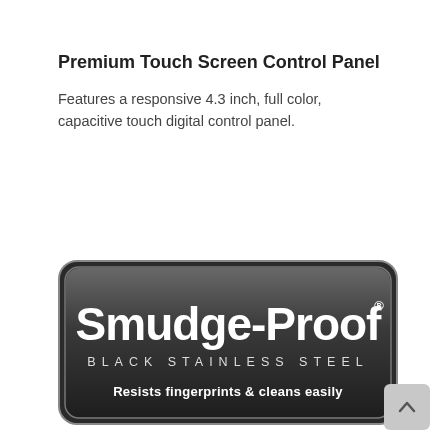Premium Touch Screen Control Panel
Features a responsive 4.3 inch, full color, capacitive touch digital control panel.
[Figure (logo): Smudge-Proof Black Stainless Steel badge — dark rounded rectangle with 'Smudge-Proof' in large bold white text, 'BLACK STAINLESS STEEL' in spaced white caps below, and 'Resists fingerprints & cleans easily' in smaller white text at bottom.]